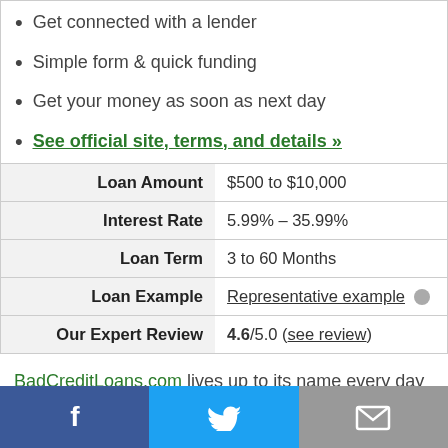Get connected with a lender
Simple form & quick funding
Get your money as soon as next day
See official site, terms, and details »
| Label | Value |
| --- | --- |
| Loan Amount | $500 to $10,000 |
| Interest Rate | 5.99% – 35.99% |
| Loan Term | 3 to 60 Months |
| Loan Example | Representative example ⓘ |
| Our Expert Review | 4.6/5.0 (see review) |
BadCreditLoans.com lives up to its name every day by finding great lenders for bad credit borrowers and...